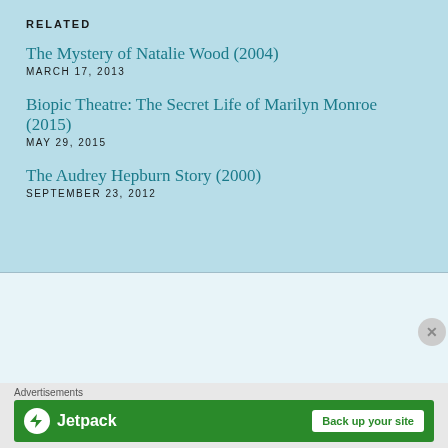RELATED
The Mystery of Natalie Wood (2004)
MARCH 17, 2013
Biopic Theatre: The Secret Life of Marilyn Monroe (2015)
MAY 29, 2015
The Audrey Hepburn Story (2000)
SEPTEMBER 23, 2012
Kristen Lopez
VIEW ALL
A freelance film critic whose work fuels the Rotten Tomatoes meter. I've been published on The Hollywood
Advertisements
[Figure (other): Jetpack advertisement banner with logo and 'Back up your site' button on green background]